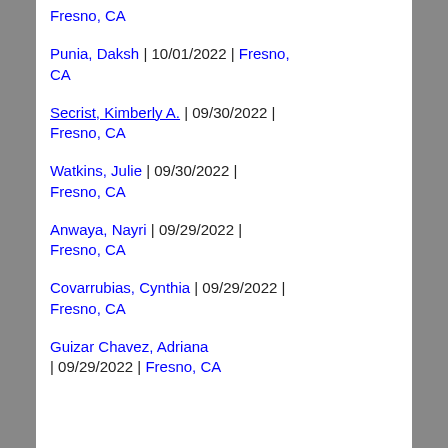Fresno, CA
Punia, Daksh  |  10/01/2022  |  Fresno, CA
Secrist, Kimberly A.  |  09/30/2022  |  Fresno, CA
Watkins, Julie  |  09/30/2022  |  Fresno, CA
Anwaya, Nayri  |  09/29/2022  |  Fresno, CA
Covarrubias, Cynthia  |  09/29/2022  |  Fresno, CA
Guizar Chavez, Adriana  |  09/29/2022  |  Fresno, CA